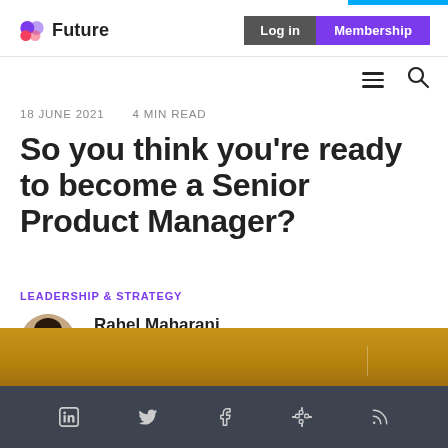Future | Log in | Membership
18 JUNE 2021    4 MIN READ
So you think you're ready to become a Senior Product Manager?
LEADERSHIP & STRATEGY
Rahel Maharani
Read More
[Figure (photo): Bottom section: gold/yellow wooden background image]
Social icons: LinkedIn, Twitter, Facebook, Slack, RSS